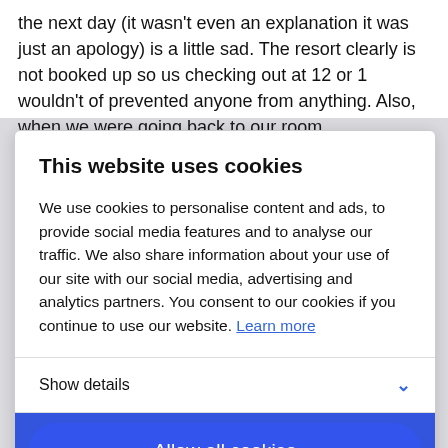the next day (it wasn't even an explanation it was just an apology) is a little sad. The resort clearly is not booked up so us checking out at 12 or 1 wouldn't of prevented anyone from anything. Also, when we were going back to our room [text continues behind modal]
This website uses cookies
We use cookies to personalise content and ads, to provide social media features and to analyse our traffic. We also share information about your use of our site with our social media, advertising and analytics partners. You consent to our cookies if you continue to use our website. Learn more
Show details
Allow all cookies